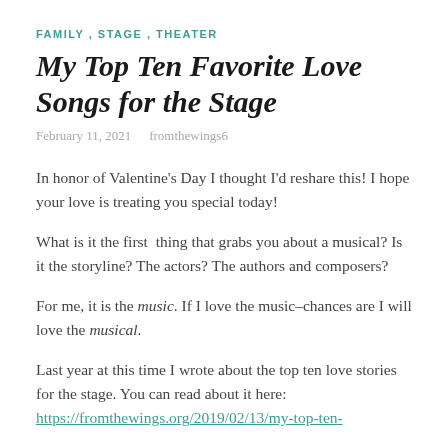FAMILY , STAGE , THEATER
My Top Ten Favorite Love Songs for the Stage
February 11, 2021   fromthewings6
In honor of Valentine's Day I thought I'd reshare this! I hope your love is treating you special today!
What is it the first  thing that grabs you about a musical? Is it the storyline? The actors? The authors and composers?
For me, it is the music. If I love the music–chances are I will love the musical.
Last year at this time I wrote about the top ten love stories for the stage. You can read about it here: https://fromthewings.org/2019/02/13/my-top-ten-